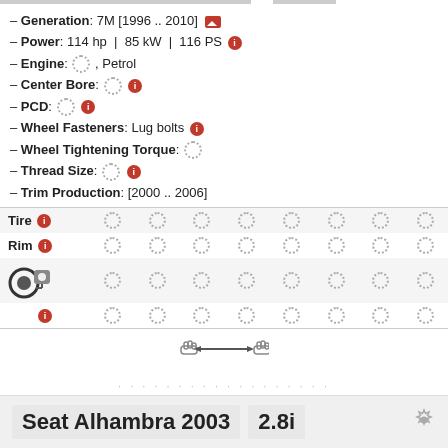– Generation: 7M [1996 .. 2010]
– Power: 114 hp | 85 kW | 116 PS
– Engine: [spinner], Petrol
– Center Bore: [spinner]
– PCD: [spinner]
– Wheel Fasteners: Lug bolts
– Wheel Tightening Torque: [spinner]
– Thread Size: [spinner]
– Trim Production: [2000 .. 2006]
| Tire |  |  |  |  |  |  |  |  |
| --- | --- | --- | --- | --- | --- | --- | --- | --- |
| Tire | [spinner] | [spinner] | [spinner] | [spinner] | [spinner] | [spinner] | [spinner] | [spinner] |
| Rim | [spinner] | [spinner] | [spinner] | [spinner] | [spinner] | [spinner] | [spinner] | [spinner] |
| [pressure icon] | [spinner] | [spinner] | [spinner] | [spinner] | [spinner] | [spinner] | [spinner] | [spinner] |
| [info] | [spinner] | [spinner] | [spinner] | [spinner] | [spinner] | [spinner] | [spinner] | [spinner] |
↔ (compare arrows)
Seat Alhambra 2003 | 2.8i